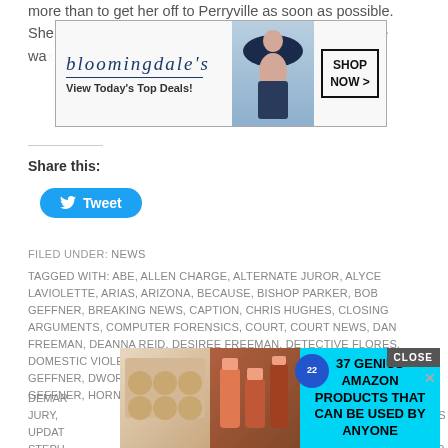more than to get her off to Perryville as soon as possible.  She has be...h as she wa...
[Figure (screenshot): Bloomingdale's advertisement banner: logo, 'View Today's Top Deals!' tagline, model with hat, and SHOP NOW button]
Share this:
[Figure (screenshot): Tweet button with Twitter bird icon]
FILED UNDER: NEWS
TAGGED WITH: ABE, ALLEN CHARGE, ALTERNATE JUROR, ALYCE LAVIOLETTE, ARIAS, ARIZONA, BECAUSE, BISHOP PARKER, BOB GEFFNER, BREAKING NEWS, CAPTION, CHRIS HUGHES, CLOSING ARGUMENTS, COMPUTER FORENSICS, COURT, COURT NEWS, DAN FREEMAN, DEANNA REID, DESIREE FREEMAN, DETECTIVE FLORES, DOMESTIC VIOLENCE, DR. CHERYL L. KARP, DR. FORSECA, DR. GEFFNER, DWORKIN, ESTEBAN FLORES, EXPERT WITNESS, FLORES, GEFFNER, HORN, HUNG, JURY, INSTRUCTIO... TEN DEMAR... ...S JURY, ... ARIAS UPDAT... ...Y STEPH... ...ROR 17, JUR... ...D
[Figure (screenshot): Pop-up advertisement: '37 GENIUS AMAZON PRODUCTS THAT CAN BE USED BY ANYONE' with product images and CLOSE button]